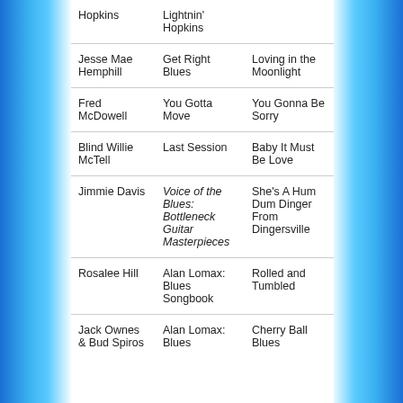| Artist | Album | Song |
| --- | --- | --- |
| Hopkins | Lightnin' Hopkins |  |
| Jesse Mae Hemphill | Get Right Blues | Loving in the Moonlight |
| Fred McDowell | You Gotta Move | You Gonna Be Sorry |
| Blind Willie McTell | Last Session | Baby It Must Be Love |
| Jimmie Davis | Voice of the Blues: Bottleneck Guitar Masterpieces | She's A Hum Dum Dinger From Dingersville |
| Rosalee Hill | Alan Lomax: Blues Songbook | Rolled and Tumbled |
| Jack Ownes & Bud Spires | Alan Lomax: Blues | Cherry Ball Blues |